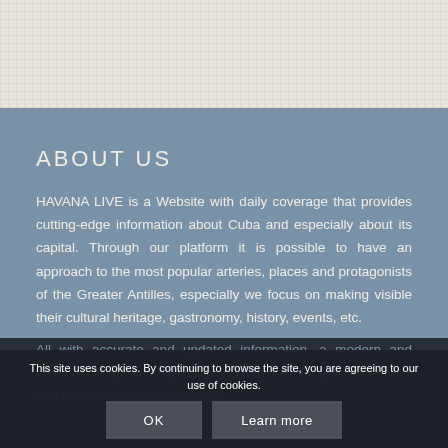[Figure (other): Top decorative textured beige/linen section background]
ABOUT US
HAVANA LIVE is a Website with daily coverage that provides cutting-edge information about Cuba and especially about its capital. Through our platform it is possible to have an approach to the most popular arteries, places and protagonists of the Greater Antilles, especially we focus on making visible their cultural heritage, gastronomy, history, events, etc.
All with accurate and updated information, a modern and creative design and high-quality photos resulting from the work of a small team of professionals.
This site uses cookies. By continuing to browse the site, you are agreeing to our use of cookies.